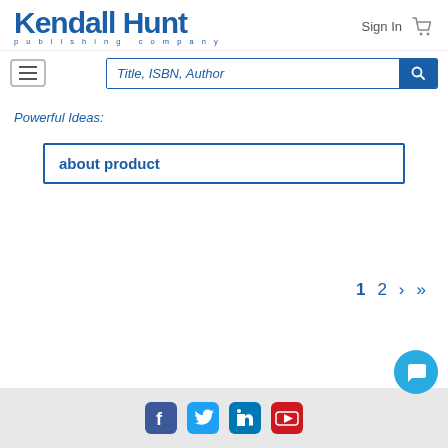[Figure (logo): Kendall Hunt publishing company logo in blue]
Sign In
Powerful Ideas:
about product
1  2  >  >>
[Figure (infographic): Social media icons: Facebook, Twitter, LinkedIn, YouTube]
[Figure (illustration): Blue chat bubble button]